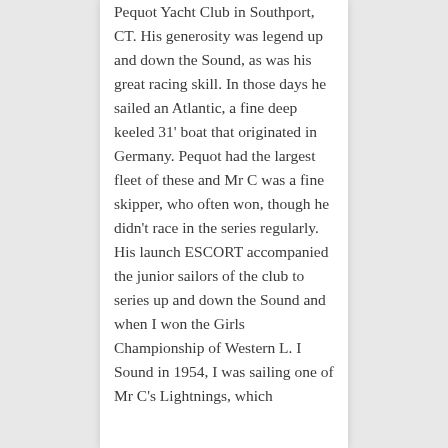Pequot Yacht Club in Southport, CT. His generosity was legend up and down the Sound, as was his great racing skill. In those days he sailed an Atlantic, a fine deep keeled 31' boat that originated in Germany. Pequot had the largest fleet of these and Mr C was a fine skipper, who often won, though he didn't race in the series regularly. His launch ESCORT accompanied the junior sailors of the club to series up and down the Sound and when I won the Girls Championship of Western L. I Sound in 1954, I was sailing one of Mr C's Lightnings, which